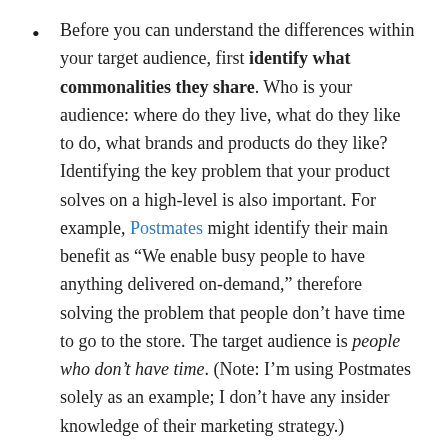Before you can understand the differences within your target audience, first identify what commonalities they share. Who is your audience: where do they live, what do they like to do, what brands and products do they like? Identifying the key problem that your product solves on a high-level is also important. For example, Postmates might identify their main benefit as “We enable busy people to have anything delivered on-demand,” therefore solving the problem that people don’t have time to go to the store. The target audience is people who don’t have time. (Note: I’m using Postmates solely as an example; I don’t have any insider knowledge of their marketing strategy.)